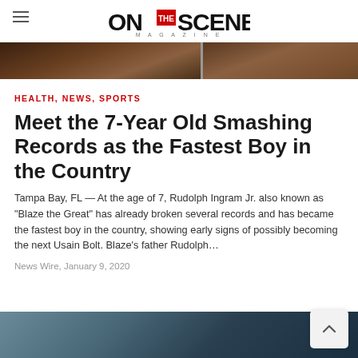ON THE SCENE MAGAZINE
[Figure (photo): Top cropped photo strip showing two side-by-side images of a running track scene]
HEALTH, NEWS, SPORTS
Meet the 7-Year Old Smashing Records as the Fastest Boy in the Country
Tampa Bay, FL — At the age of 7, Rudolph Ingram Jr. also known as "Blaze the Great" has already broken several records and has became the fastest boy in the country, showing early signs of possibly becoming the next Usain Bolt. Blaze's father Rudolph…
News Wire, January 9, 2020
[Figure (photo): Bottom partial photo strip showing a person at a track meet]